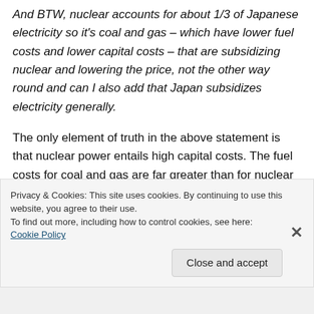And BTW, nuclear accounts for about 1/3 of Japanese electricity so it's coal and gas – which have lower fuel costs and lower capital costs – that are subsidizing nuclear and lowering the price, not the other way round and can I also add that Japan subsidizes electricity generally.
The only element of truth in the above statement is that nuclear power entails high capital costs. The fuel costs for coal and gas are far greater than for nuclear power when assessed on a fuel
Privacy & Cookies: This site uses cookies. By continuing to use this website, you agree to their use.
To find out more, including how to control cookies, see here: Cookie Policy
Close and accept